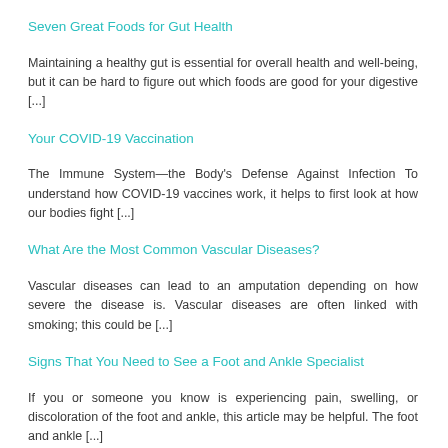Seven Great Foods for Gut Health
Maintaining a healthy gut is essential for overall health and well-being, but it can be hard to figure out which foods are good for your digestive [...]
Your COVID-19 Vaccination
The Immune System—the Body's Defense Against Infection To understand how COVID-19 vaccines work, it helps to first look at how our bodies fight [...]
What Are the Most Common Vascular Diseases?
Vascular diseases can lead to an amputation depending on how severe the disease is. Vascular diseases are often linked with smoking; this could be [...]
Signs That You Need to See a Foot and Ankle Specialist
If you or someone you know is experiencing pain, swelling, or discoloration of the foot and ankle, this article may be helpful. The foot and ankle [...]
How to Recover from …